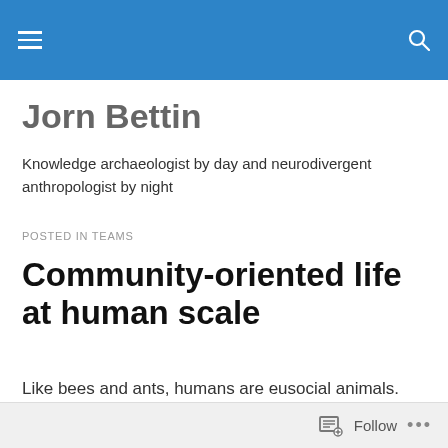Jorn Bettin
Knowledge archaeologist by day and neurodivergent anthropologist by night
POSTED IN TEAMS
Community-oriented life at human scale
Like bees and ants, humans are eusocial animals. Through the lenses of evolutionary biology and cultural
Follow